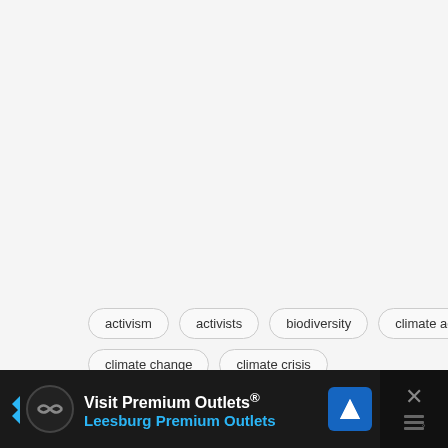activism
activists
biodiversity
climate action
climate change
climate crisis
Visit Premium Outlets® Leesburg Premium Outlets